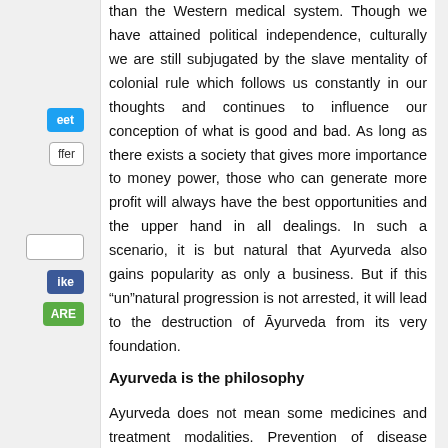than the Western medical system. Though we have attained political independence, culturally we are still subjugated by the slave mentality of colonial rule which follows us constantly in our thoughts and continues to influence our conception of what is good and bad. As long as there exists a society that gives more importance to money power, those who can generate more profit will always have the best opportunities and the upper hand in all dealings. In such a scenario, it is but natural that Ayurveda also gains popularity as only a business. But if this “un”natural progression is not arrested, it will lead to the destruction of Āyurveda from its very foundation.
Ayurveda is the philosophy
Ayurveda does not mean some medicines and treatment modalities. Prevention of disease through a healthy lifestyle is more important than curing diseases. The most profound